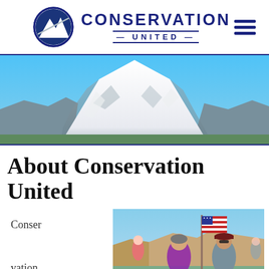Conservation United
[Figure (photo): Panoramic photo of a snow-capped mountain (Mount Hood) with bright blue sky]
About Conservation United
Conservation United is an
[Figure (photo): Two people outdoors near coastal cliffs, one holding an American flag]